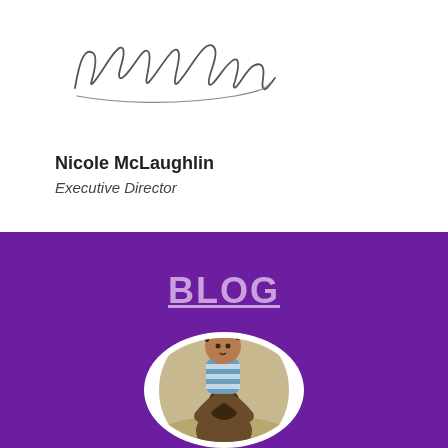[Figure (illustration): Handwritten cursive signature reading Nicole McLaughlin]
Nicole McLaughlin
Executive Director
BLOG
[Figure (photo): Circular photo of a young child with curly hair in a blue and white striped shirt being held up by an adult outdoors in a field]